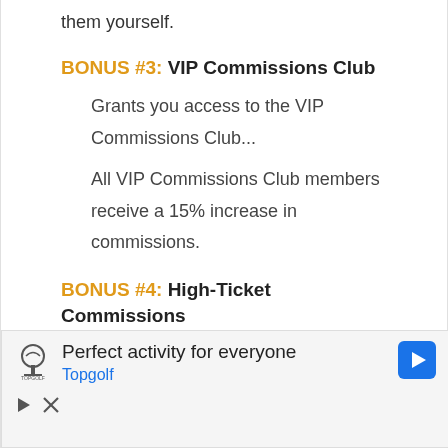them yourself.
BONUS #3: VIP Commissions Club
Grants you access to the VIP Commissions Club...
All VIP Commissions Club members receive a 15% increase in commissions.
BONUS #4: High-Ticket Commissions
Most ClickBank products pay $50-$100
[Figure (other): Advertisement banner for Topgolf: 'Perfect activity for everyone' with Topgolf logo, navigation icon, play button and close button controls.]